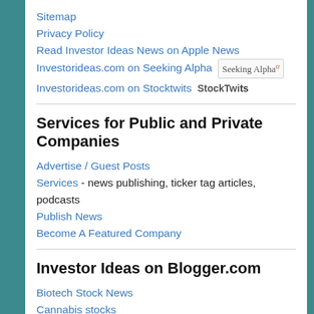Sitemap
Privacy Policy
Read Investor Ideas News on Apple News
Investorideas.com on Seeking Alpha [Seeking Alpha logo]
Investorideas.com on Stocktwits [StockTwits logo]
Services for Public and Private Companies
Advertise / Guest Posts
Services - news publishing, ticker tag articles, podcasts
Publish News
Become A Featured Company
Investor Ideas on Blogger.com
Biotech Stock News
Cannabis stocks
Cannabis stocks newswire
Clean Energy News
Defense Stocks